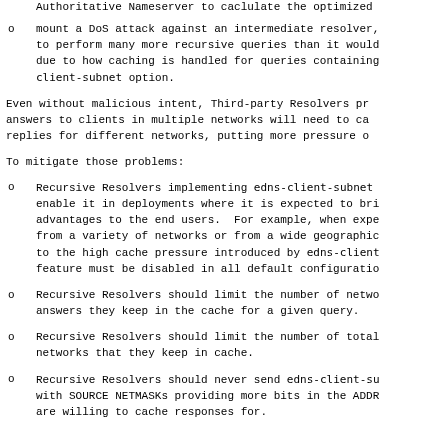Authoritative Nameserver to caclulate the optimized
mount a DoS attack against an intermediate resolver, to perform many more recursive queries than it would due to how caching is handled for queries containing client-subnet option.
Even without malicious intent, Third-party Resolvers pr answers to clients in multiple networks will need to ca replies for different networks, putting more pressure o
To mitigate those problems:
Recursive Resolvers implementing edns-client-subnet enable it in deployments where it is expected to bri advantages to the end users.  For example, when expe from a variety of networks or from a wide geographic to the high cache pressure introduced by edns-client feature must be disabled in all default configuratio
Recursive Resolvers should limit the number of netwo answers they keep in the cache for a given query.
Recursive Resolvers should limit the number of total networks that they keep in cache.
Recursive Resolvers should never send edns-client-su with SOURCE NETMASKs providing more bits in the ADDR are willing to cache responses for.